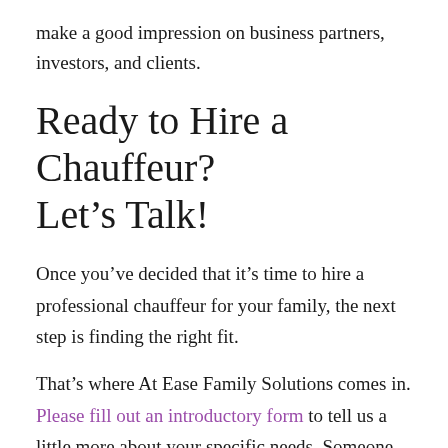make a good impression on business partners, investors, and clients.
Ready to Hire a Chauffeur? Let’s Talk!
Once you’ve decided that it’s time to hire a professional chauffeur for your family, the next step is finding the right fit.
That’s where At Ease Family Solutions comes in. Please fill out an introductory form to tell us a little more about your specific needs. Someone from our friendly team will be in touch with you soon to help!